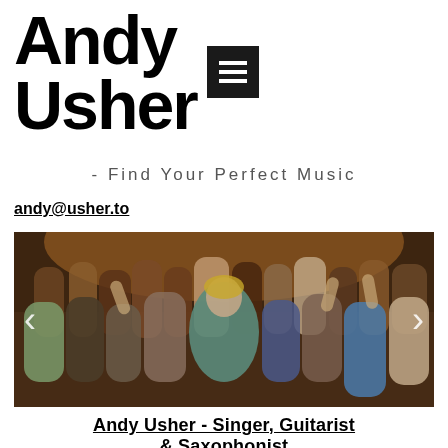Andy Usher
- Find Your Perfect Music
andy@usher.to
[Figure (photo): Party/event photo showing a crowd of people dancing and celebrating at what appears to be a wedding or formal event, with warm lighting and people in formal attire. Carousel navigation arrows visible on left and right sides.]
Andy Usher - Singer, Guitarist & Saxophonist